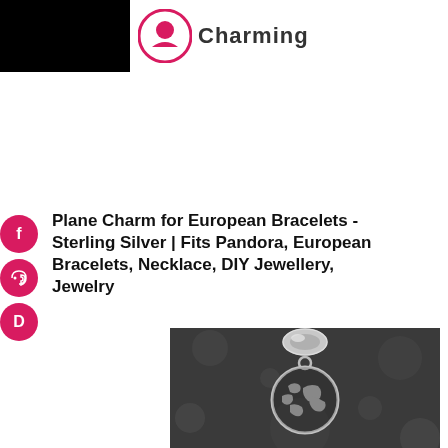Charming
Plane Charm for European Bracelets - Sterling Silver | Fits Pandora, European Bracelets, Necklace, DIY Jewellery, Jewelry
[Figure (photo): A sterling silver plane charm hanging from a bracelet bead connector, shown on a dark background. The charm features a globe/world map design inside a circular frame with a small plane.]